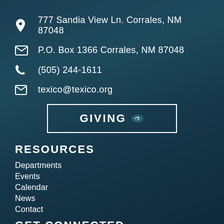777 Sandia View Ln. Corrales, NM 87048
P.O. Box 1366 Corrales, NM 87048
(505) 244-1611
texico@texico.org
GIVING
RESOURCES
Departments
Events
Calendar
News
Contact
GET CONNECTED